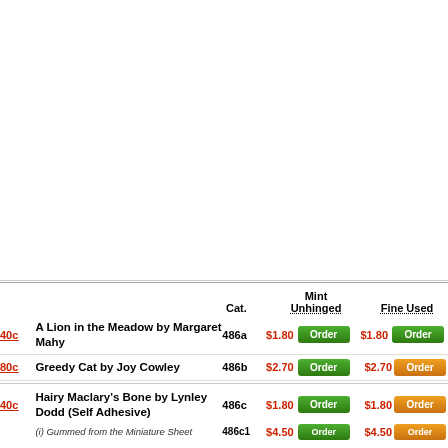|  | Description | Cat. | Mint Unhinged |  | Fine Used |  |
| --- | --- | --- | --- | --- | --- | --- |
| 40c | A Lion in the Meadow by Margaret Mahy | 486a | $1.80 | Order | $1.80 | Order |
| 80c | Greedy Cat by Joy Cowley | 486b | $2.70 | Order | $2.70 | Order |
| 40c | Hairy Maclary's Bone by Lynley Dodd (Self Adhesive) | 486c | $1.80 | Order | $1.80 | Order |
|  | (i) Gummed from the Miniature Sheet | 486c1 | $4.50 | Order | $4.50 | Order |
(i) Gummed from the Miniature Sheet